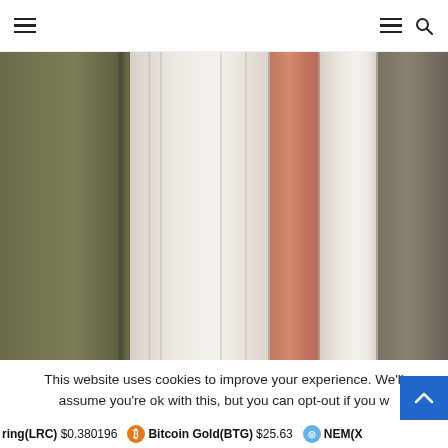☰ [menu icons and search]
[Figure (photo): Abstract vertical stripes image with earth-tone colors: olive green, cream/white, dusty rose/pink, and taupe/brown. The stripes have soft gradients and slight texture, suggesting fabric or architectural columns.]
This website uses cookies to improve your experience. We'll assume you're ok with this, but you can opt-out if you w
ring(LRC) $0.380196   Bitcoin Gold(BTG) $25.63   NEM(XN...